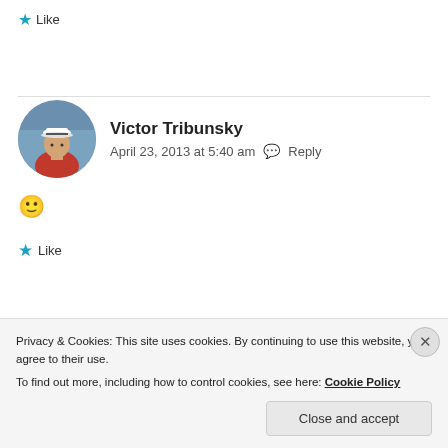★ Like
Victor Tribunsky
April 23, 2013 at 5:40 am  Reply
🙂
★ Like
Privacy & Cookies: This site uses cookies. By continuing to use this website, you agree to their use.
To find out more, including how to control cookies, see here: Cookie Policy
Close and accept